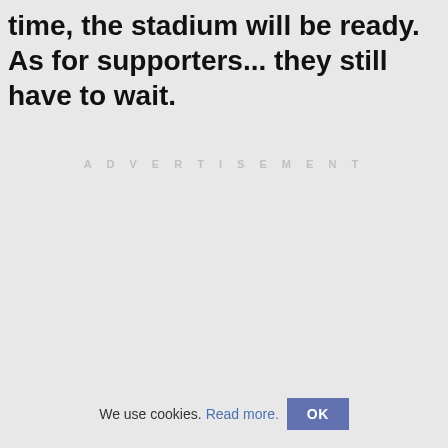time, the stadium will be ready. As for supporters... they still have to wait.
ADVERTISEMENT
We use cookies. Read more. OK